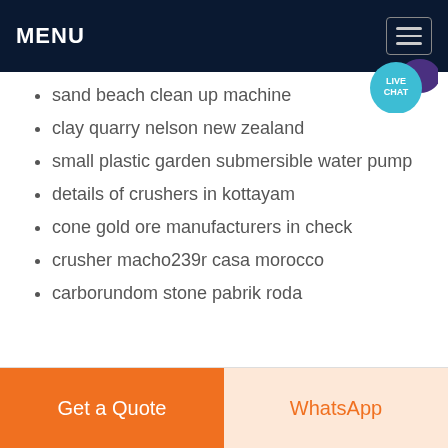MENU
sand beach clean up machine
clay quarry nelson new zealand
small plastic garden submersible water pump
details of crushers in kottayam
cone gold ore manufacturers in check
crusher macho239r casa morocco
carborundom stone pabrik roda